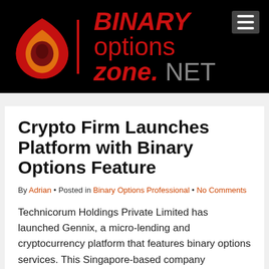[Figure (logo): Binary Options Zone .NET logo — red teardrop/avocado shape icon with orange and dark red interior, beside red italic BINARY options / zone. NET text on black background]
Crypto Firm Launches Platform with Binary Options Feature
By Adrian • Posted in Binary Options Professional • No Comments
Technicorum Holdings Private Limited has launched Gennix, a micro-lending and cryptocurrency platform that features binary options services. This Singapore-based company specializes in virtual assets and has worked with Binance to build its new trading site.